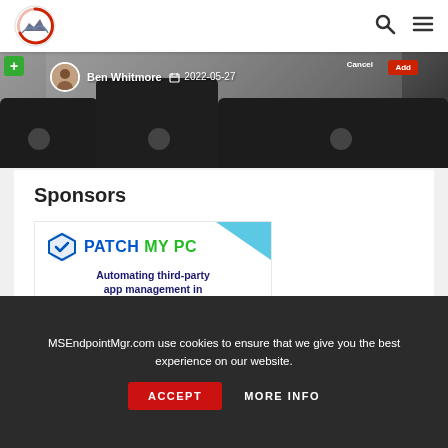MSEndpointMgr.com — navigation header with logo, search, and menu icons
[Figure (screenshot): Hero banner showing smartphone screens with Ben Whitmore author avatar and date 2022-05-27, with Add/Cancel buttons]
Sponsors
[Figure (illustration): Patch My PC advertisement: logo with shield icon, text 'PATCH MY PC', tagline 'Automating third-party app management in ConfigMgr and Intune', with laptop image]
MSEndpointMgr.com use cookies to ensure that we give you the best experience on our website.